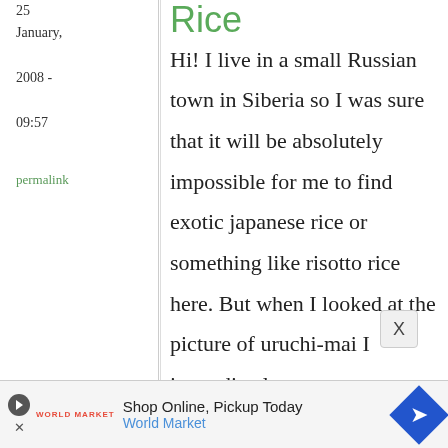25 January, 2008 - 09:57
permalink
Rice
Hi! I live in a small Russian town in Siberia so I was sure that it will be absolutely impossible for me to find exotic japanese rice or something like risotto rice here. But when I looked at the picture of uruchi-mai I immediately
[Figure (screenshot): Advertisement banner: Shop Online, Pickup Today - World Market, with play/navigation icons]
X